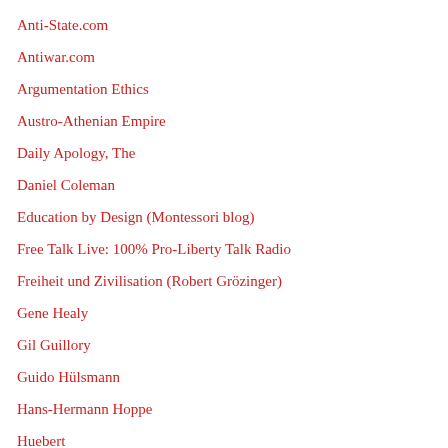Anti-State.com
Antiwar.com
Argumentation Ethics
Austro-Athenian Empire
Daily Apology, The
Daniel Coleman
Education by Design (Montessori blog)
Free Talk Live: 100% Pro-Liberty Talk Radio
Freiheit und Zivilisation (Robert Grözinger)
Gene Healy
Gil Guillory
Guido Hülsmann
Hans-Hermann Hoppe
Huebert